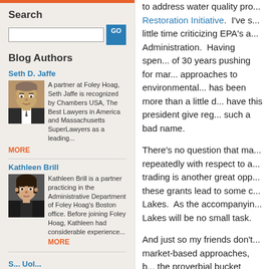Search
Blog Authors
Seth D. Jaffe
A partner at Foley Hoag, Seth Jaffe is recognized by Chambers USA, The Best Lawyers in America and Massachusetts SuperLawyers as a leading... MORE
Kathleen Brill
Kathleen Brill is a partner practicing in the Administrative Department of Foley Hoag's Boston office. Before joining Foley Hoag, Kathleen had considerable experience...MORE
to address water quality pro... Restoration Initiative. I've s... little time criticizing EPA's a... Administration. Having spen... of 30 years pushing for mar... approaches to environmental... has been more than a little d... have this president give reg... such a bad name.
There's no question that ma... repeatedly with respect to a... trading is another great opp... these grants lead to some c... Lakes. As the accompanyin... Lakes will be no small task.
And just so my friends don't... market-based approaches, b... the proverbial bucket given t... doing much more to restore...